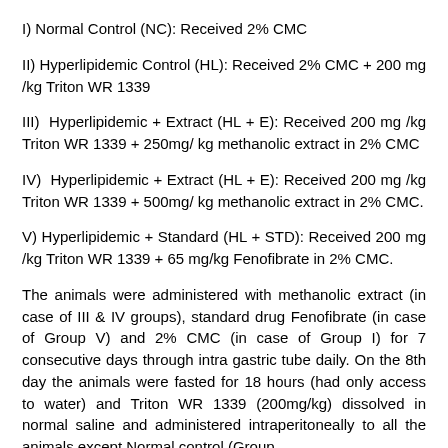I) Normal Control (NC): Received 2% CMC
II) Hyperlipidemic Control (HL): Received 2% CMC + 200 mg /kg Triton WR 1339
III) Hyperlipidemic + Extract (HL + E): Received 200 mg /kg Triton WR 1339 + 250mg/ kg methanolic extract in 2% CMC
IV) Hyperlipidemic + Extract (HL + E): Received 200 mg /kg Triton WR 1339 + 500mg/ kg methanolic extract in 2% CMC.
V) Hyperlipidemic + Standard (HL + STD): Received 200 mg /kg Triton WR 1339 + 65 mg/kg Fenofibrate in 2% CMC.
The animals were administered with methanolic extract (in case of III & IV groups), standard drug Fenofibrate (in case of Group V) and 2% CMC (in case of Group I) for 7 consecutive days through intra gastric tube daily. On the 8th day the animals were fasted for 18 hours (had only access to water) and Triton WR 1339 (200mg/kg) dissolved in normal saline and administered intraperitoneally to all the animals except Normal control (Group